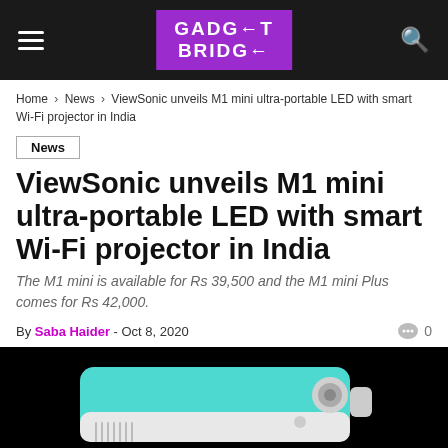Gadget Bridge
Home › News › ViewSonic unveils M1 mini ultra-portable LED with smart Wi-Fi projector in India
News
ViewSonic unveils M1 mini ultra-portable LED with smart Wi-Fi projector in India
The M1 mini is available for Rs 39,500 and the M1 mini Plus comes for Rs 42,000.
By Saba Haider - Oct 8, 2020  0
[Figure (photo): ViewSonic M1 mini projector in teal/cyan color on black background]